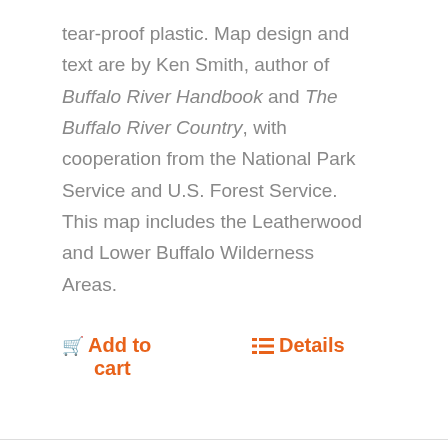tear-proof plastic. Map design and text are by Ken Smith, author of Buffalo River Handbook and The Buffalo River Country, with cooperation from the National Park Service and U.S. Forest Service. This map includes the Leatherwood and Lower Buffalo Wilderness Areas.
Add to cart   Details